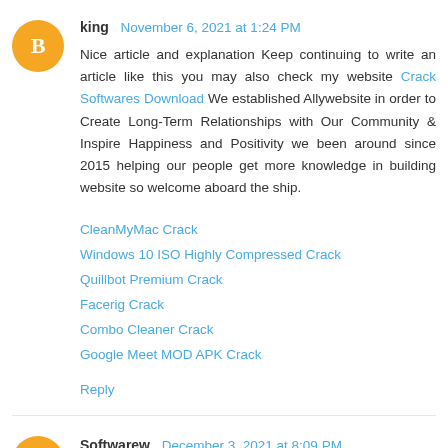king November 6, 2021 at 1:24 PM
Nice article and explanation Keep continuing to write an article like this you may also check my website Crack Softwares Download We established Allywebsite in order to Create Long-Term Relationships with Our Community & Inspire Happiness and Positivity we been around since 2015 helping our people get more knowledge in building website so welcome aboard the ship.

CleanMyMac Crack
Windows 10 ISO Highly Compressed Crack
Quillbot Premium Crack
Facerig Crack
Combo Cleaner Crack
Google Meet MOD APK Crack

Reply
Softwarew December 3, 2021 at 8:09 PM
Nice explanation and article. Continue to write articles like...